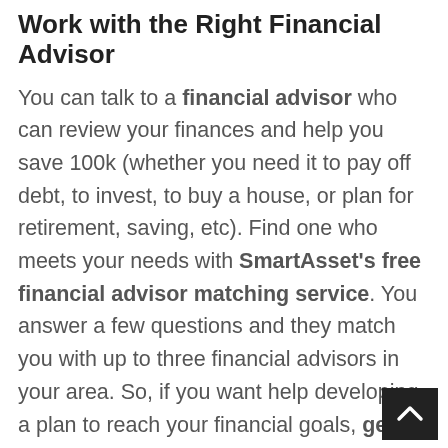Work with the Right Financial Advisor
You can talk to a financial advisor who can review your finances and help you save 100k (whether you need it to pay off debt, to invest, to buy a house, or plan for retirement, saving, etc). Find one who meets your needs with SmartAsset's free financial advisor matching service. You answer a few questions and they match you with up to three financial advisors in your area. So, if you want help developing a plan to reach your financial goals, get started now.